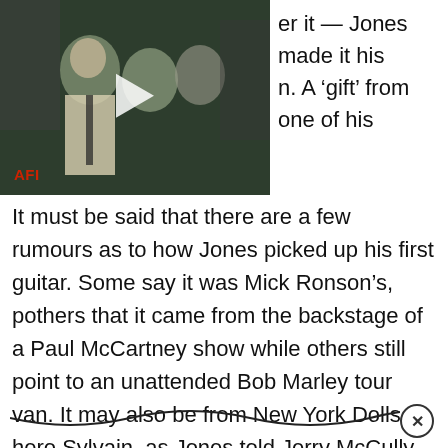[Figure (screenshot): Video thumbnail showing two people outdoors in vintage footage, with a play button overlay and 'AFI' label in red at bottom left]
er it — Jones made it his n. A 'gift' from one of his
It must be said that there are a few rumours as to how Jones picked up his first guitar. Some say it was Mick Ronson's, pothers that it came from the backstage of a Paul McCartney show while others still point to an unattended Bob Marley tour van. It may also be from New York Dolls hero Sylvain, as Jones told Jerry McCully for Gibson.com: “The one that I started playing was the one that [Sex Pistols’ manager] Malcolm McLaren actually brought back from New York that he got off Sylvain, which was the white Gibson Les Paul. A ’74, I think it was, a white Custom.”